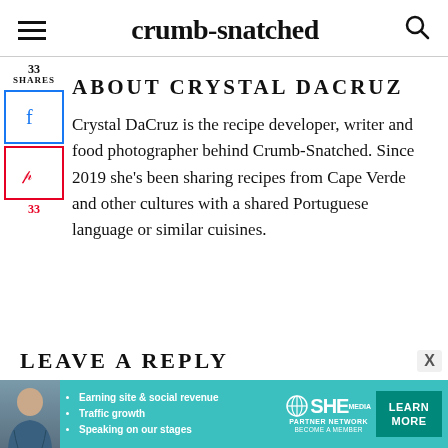crumb-snatched
ABOUT CRYSTAL DACRUZ
Crystal DaCruz is the recipe developer, writer and food photographer behind Crumb-Snatched. Since 2019 she's been sharing recipes from Cape Verde and other cultures with a shared Portuguese language or similar cuisines.
[Figure (screenshot): Social share sidebar with Facebook and Pinterest buttons showing 33 shares and 33 pin count]
LEAVE A REPLY
[Figure (screenshot): SHE Partner Network advertisement banner with photo, bullet points: Earning site & social revenue, Traffic growth, Speaking on our stages. SHE Partner Network logo with LEARN MORE button.]